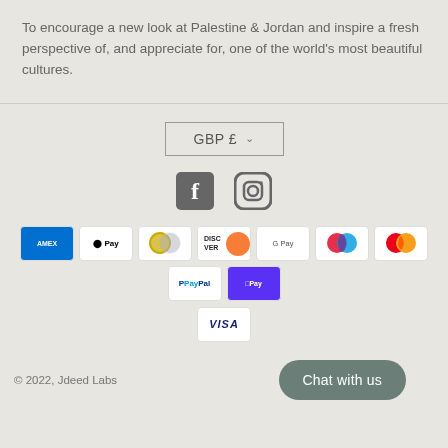To encourage a new look at Palestine & Jordan and inspire a fresh perspective of, and appreciate for, one of the world's most beautiful cultures.
[Figure (other): Currency selector button showing GBP £ with dropdown arrow]
[Figure (other): Social media icons: Facebook and Instagram]
[Figure (other): Payment method icons: American Express, Apple Pay, Diners Club, Discover, Google Pay, Maestro, Mastercard, PayPal, Shop Pay, Visa]
© 2022, Jdeed Labs
Chat with us